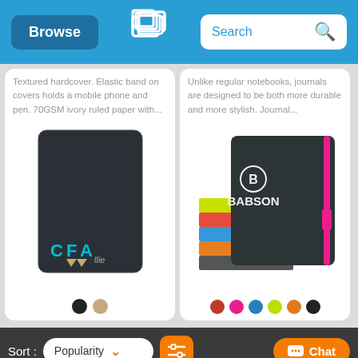Browse | Search
Textured hardcover. Elastic band on covers holds a mobile phone and pen. 70GSM ivory ruled paper with...
Unlike regular notebooks, journals are designed to be both more durable and more stylish. Journal...
[Figure (photo): Dark hardcover notebook with CFA logo in teal and gold at the bottom left]
[Figure (photo): Stack of dark hardcover notebooks in various colors (yellow, red, blue, orange) with a BABSON branded black notebook with pink elastic band on top]
Sort: Popularity | Filter | Chat